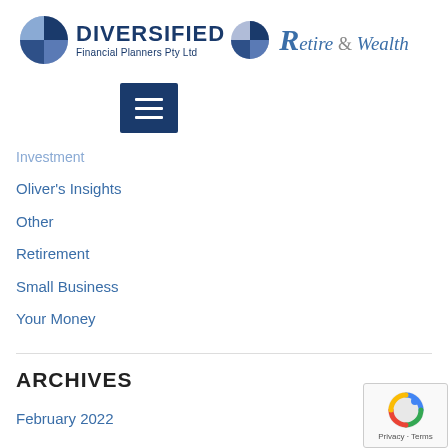[Figure (logo): Diversified Financial Planners Pty Ltd logo with pie chart icons and Retire & Wealth script text]
[Figure (other): Hamburger/menu button (three horizontal white lines on dark blue background)]
Investment
Oliver's Insights
Other
Retirement
Small Business
Your Money
ARCHIVES
February 2022
[Figure (other): reCAPTCHA badge with Privacy and Terms links]